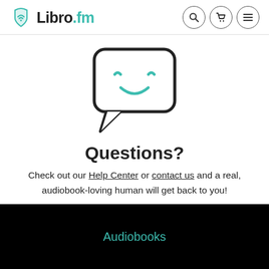Libro.fm
[Figure (illustration): Smiling chat bubble icon with teal curved eyes and smile on white background]
Questions?
Check out our Help Center or contact us and a real, audiobook-loving human will get back to you!
Audiobooks